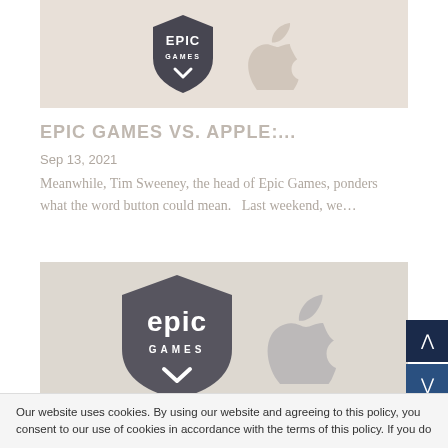[Figure (photo): Epic Games logo (shield with EPIC GAMES text in white) alongside a faded Apple logo on a warm beige/orange background – top article thumbnail image]
EPIC GAMES VS. APPLE:...
Sep 13, 2021
Meanwhile, Tim Sweeney, the head of Epic Games, ponders what the word button could mean.   Last weekend, we…
[Figure (photo): Epic Games logo (large EPIC text with GAMES below in white) alongside a dark Apple logo on a warm background – second article thumbnail image]
Our website uses cookies. By using our website and agreeing to this policy, you consent to our use of cookies in accordance with the terms of this policy. If you do